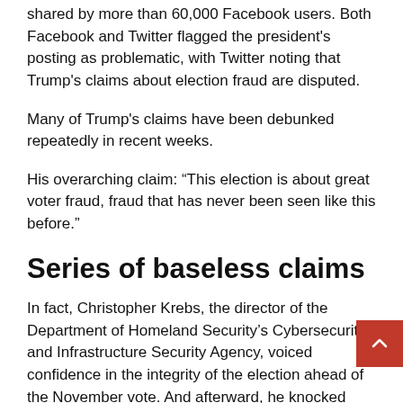shared by more than 60,000 Facebook users. Both Facebook and Twitter flagged the president's posting as problematic, with Twitter noting that Trump's claims about election fraud are disputed.
Many of Trump's claims have been debunked repeatedly in recent weeks.
His overarching claim: “This election is about great voter fraud, fraud that has never been seen like this before.”
Series of baseless claims
In fact, Christopher Krebs, the director of the Department of Homeland Security’s Cybersecurity and Infrastructure Security Agency, voiced confidence in the integrity of the election ahead of the November vote. And afterward, he knocked down allegations that the count was tainted by fraud.
Krebs was fired by Trump weeks ago.
Barr, in an interview with The Associated Press on